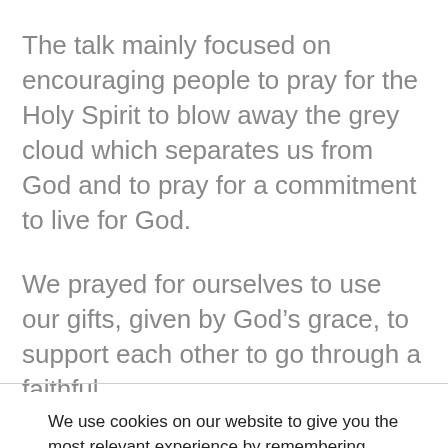The talk mainly focused on encouraging people to pray for the Holy Spirit to blow away the grey cloud which separates us from God and to pray for a commitment to live for God.
We prayed for ourselves to use our gifts, given by God's grace, to support each other to go through a faithful
We use cookies on our website to give you the most relevant experience by remembering your preferences and repeat visits. By clicking "Accept", you consent to the use of ALL the cookies. Read our full Cookie Policy
Cookie settings
ACCEPT